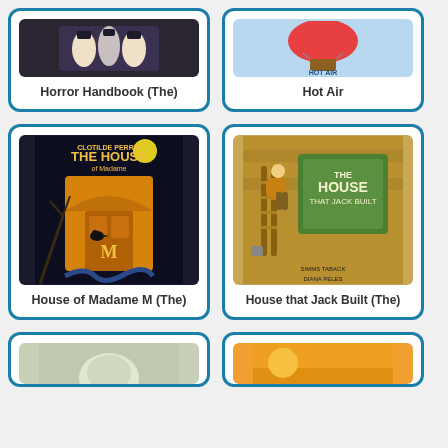[Figure (illustration): Book cover for Horror Handbook (The) showing illustrated figures]
Horror Handbook (The)
[Figure (illustration): Book cover for Hot Air]
Hot Air
[Figure (illustration): Book cover for House of Madame M (The) with dark house and crow imagery]
House of Madame M (The)
[Figure (illustration): Book cover for House that Jack Built (The) showing historical figure on ladder]
House that Jack Built (The)
[Figure (illustration): Book cover partially visible, bottom left card]
[Figure (illustration): Book cover partially visible, bottom right card]